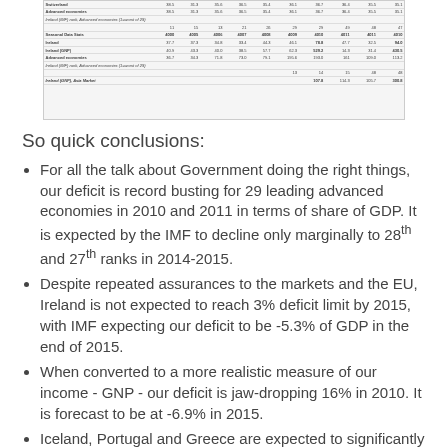[Figure (table-as-image): Partial table showing fiscal data for advanced economies including rows for Ireland, IMF data, Seasonal Data, Advanced economies, with numeric columns across multiple years]
So quick conclusions:
For all the talk about Government doing the right things, our deficit is record busting for 29 leading advanced economies in 2010 and 2011 in terms of share of GDP. It is expected by the IMF to decline only marginally to 28th and 27th ranks in 2014-2015.
Despite repeated assurances to the markets and the EU, Ireland is not expected to reach 3% deficit limit by 2015, with IMF expecting our deficit to be -5.3% of GDP in the end of 2015.
When converted to a more realistic measure of our income - GNP - our deficit is jaw-dropping 16% in 2010. It is forecast to be at -6.9% in 2015.
Iceland, Portugal and Greece are expected to significantly outperform Ireland in terms of deficit in 2014-2015.